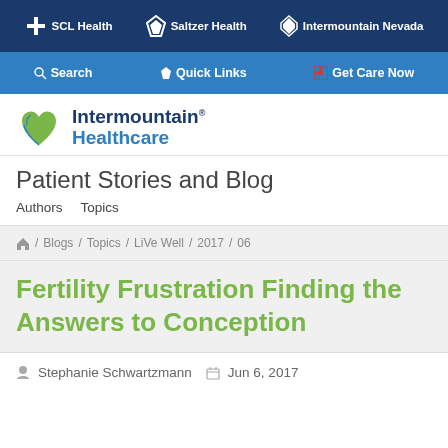SCL Health | Saltzer Health | Intermountain Nevada
Search | Quick Links | Get Care Now
[Figure (logo): Intermountain Healthcare logo with leaf/hands icon]
Patient Stories and Blog
Authors   Topics
/ Blogs / Topics / LiVe Well / 2017 / 06
Fertility Frustration Finding the Answers to Conception
Stephanie Schwartzmann   Jun 6, 2017